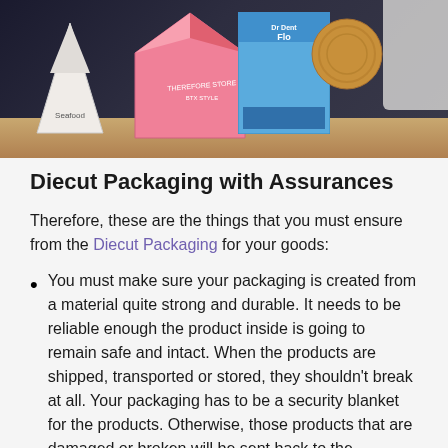[Figure (photo): A photograph of various diecut packaging boxes and containers arranged on a brown surface against a dark background. Includes a triangular white box, pink pyramid-shaped boxes, a blue rectangular box, a round wooden disc, and a white object on the right.]
Diecut Packaging with Assurances
Therefore, these are the things that you must ensure from the Diecut Packaging for your goods:
You must make sure your packaging is created from a material quite strong and durable. It needs to be reliable enough the product inside is going to remain safe and intact. When the products are shipped, transported or stored, they shouldn't break at all. Your packaging has to be a security blanket for the products. Otherwise, those products that are damaged or broken will be sent back to the